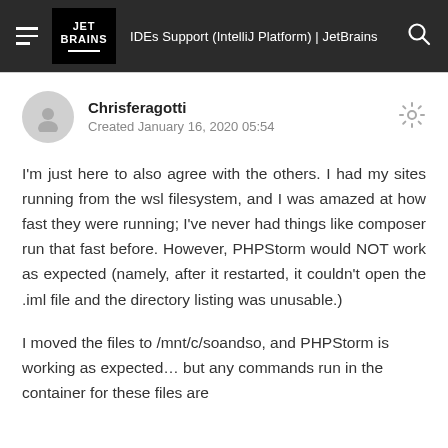IDEs Support (IntelliJ Platform) | JetBrains
Chrisferagotti
Created January 16, 2020 05:54
I'm just here to also agree with the others. I had my sites running from the wsl filesystem, and I was amazed at how fast they were running; I've never had things like composer run that fast before. However, PHPStorm would NOT work as expected (namely, after it restarted, it couldn't open the .iml file and the directory listing was unusable.)
I moved the files to /mnt/c/soandso, and PHPStorm is working as expected… but any commands run in the container for these files are